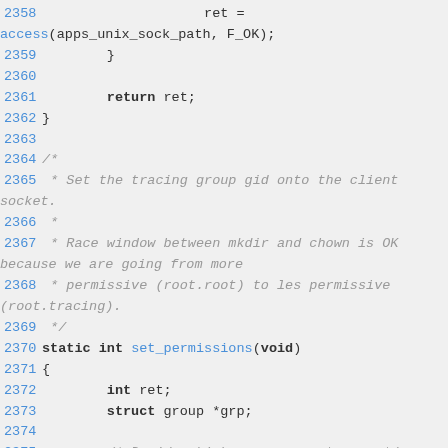Source code listing, lines 2358-2377, C code for set_permissions function